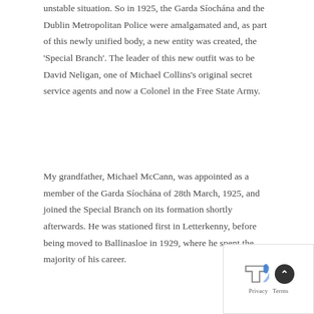unstable situation. So in 1925, the Garda Síochána and the Dublin Metropolitan Police were amalgamated and, as part of this newly unified body, a new entity was created, the 'Special Branch'. The leader of this new outfit was to be David Neligan, one of Michael Collins's original secret service agents and now a Colonel in the Free State Army.
My grandfather, Michael McCann, was appointed as a member of the Garda Síochána of 28th March, 1925, and joined the Special Branch on its formation shortly afterwards. He was stationed first in Letterkenny, before being moved to Ballinasloe in 1929, where he spent the majority of his career.